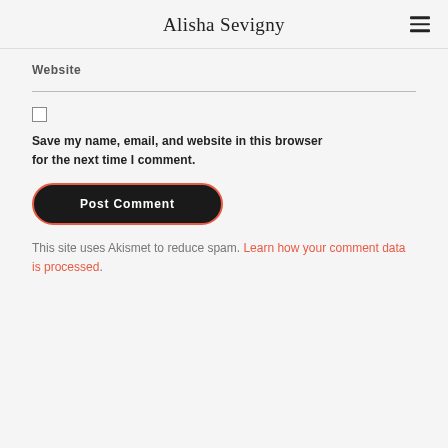Alisha Sevigny
Website
Save my name, email, and website in this browser for the next time I comment.
Post Comment
This site uses Akismet to reduce spam. Learn how your comment data is processed.